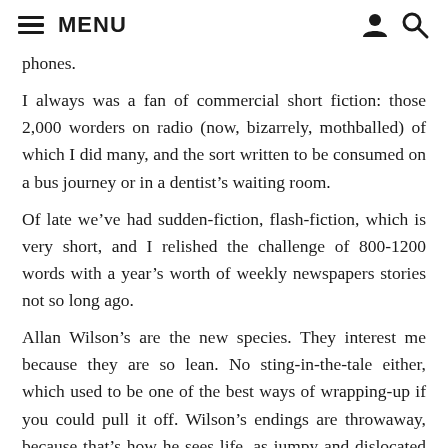MENU
phones.
I always was a fan of commercial short fiction: those 2,000 worders on radio (now, bizarrely, mothballed) of which I did many, and the sort written to be consumed on a bus journey or in a dentist’s waiting room.
Of late we’ve had sudden-fiction, flash-fiction, which is very short, and I relished the challenge of 800-1200 words with a year’s worth of weekly newspapers stories not so long ago.
Allan Wilson’s are the new species. They interest me because they are so lean. No sting-in-the-tale either, which used to be one of the best ways of wrapping-up if you could pull it off. Wilson’s endings are throwaway, because that’s how he sees life, as jumpy and dislocated and carrying-on-whatever. His stories are far from what has been coming to us out of London publishing houses, mostly American, those very overwritten and altogether self-conscious pieces of Beautiful Writing.